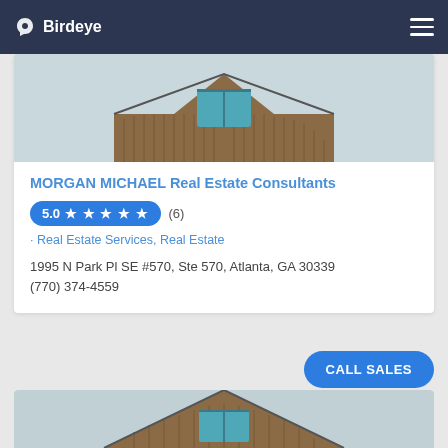Birdeye
[Figure (photo): Photo of a modern wooden building with a gabled roof and teal-framed window at the top]
MORGAN MICHAEL Real Estate Consultants
5.0 ★★★★★ (6)
· Real Estate Services, Real Estate
1995 N Park Pl SE #570, Ste 570, Atlanta, GA 30339
(770) 374-4559
[Figure (photo): Photo of the bottom portion of a modern wooden building with a gabled roof and teal-framed window]
CALL SALES